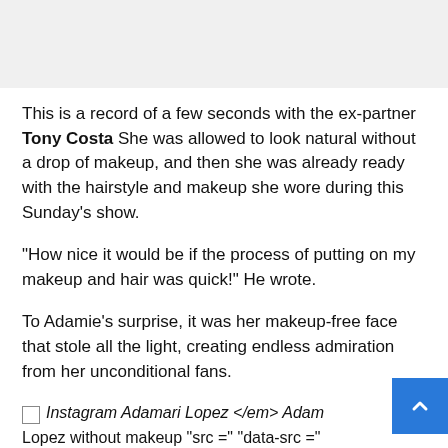This is a record of a few seconds with the ex-partner Tony Costa She was allowed to look natural without a drop of makeup, and then she was already ready with the hairstyle and makeup she wore during this Sunday’s show.
“How nice it would be if the process of putting on my makeup and hair was quick!” He wrote.
To Adamie’s surprise, it was her makeup-free face that stole all the light, creating endless admiration from her unconditional fans.
<em> Instagram Adamari Lopez </em> Adamari Lopez without makeup “src =” “data-src =”